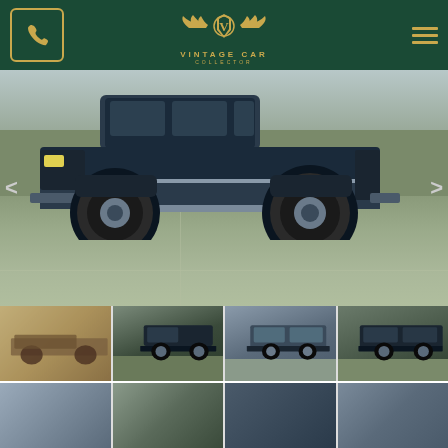[Figure (logo): Vintage Car Collector website header with dark green background, gold phone icon button on left, gold winged V logo in center, gold hamburger menu on right]
[Figure (photo): Main large photo of a dark blue/black lifted GMC/Chevrolet Blazer or Suburban 4x4 truck parked on a concrete driveway, side profile view showing large off-road tires and chrome running boards, with left and right navigation arrows]
[Figure (photo): Thumbnail row 1: (1) sepia/vintage document photo of the truck, (2) front 3/4 view of black lifted truck, (3) front/side view of truck in lighter color, (4) rear 3/4 view of dark truck]
[Figure (photo): Thumbnail row 2 (partial): additional truck detail photos partially visible at bottom]